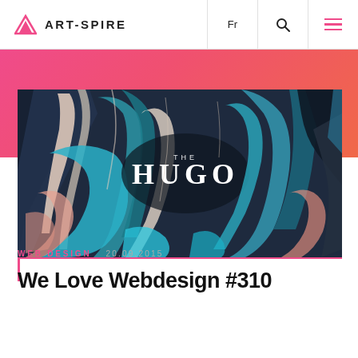ART-SPIRE  Fr
[Figure (illustration): Dark navy blue illustrated artwork showing stylized human figures in dynamic poses with cyan, pink/salmon, and white color accents. Center text reads 'THE HUGO' in white letters.]
WEB DESIGN   20.09.2015
We Love Webdesign #310